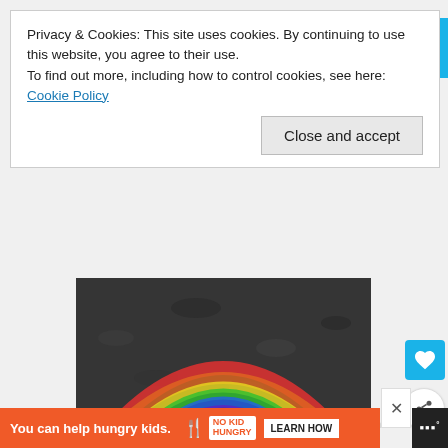Privacy & Cookies: This site uses cookies. By continuing to use this website, you agree to their use.
To find out more, including how to control cookies, see here: Cookie Policy
Close and accept
[Figure (photo): Dark soil/asphalt background with a chalk-drawn rainbow arc in multiple colors at the top. White bold italic text reads #ViralKindness.]
I've written about Uncle Chestnut's Table Gype a couple of times already
You can help hungry kids. NO KID HUNGRY LEARN HOW